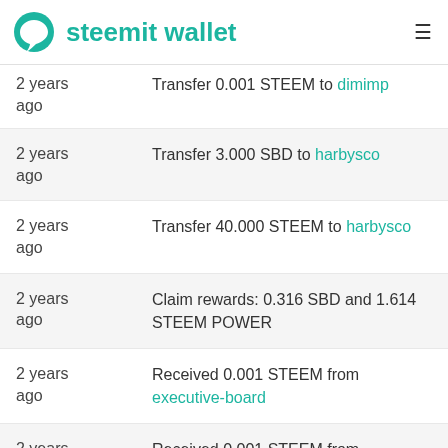steemit wallet
2 years ago — Transfer 0.001 STEEM to dimimp
2 years ago — Transfer 3.000 SBD to harbysco
2 years ago — Transfer 40.000 STEEM to harbysco
2 years ago — Claim rewards: 0.316 SBD and 1.614 STEEM POWER
2 years ago — Received 0.001 STEEM from executive-board
2 years ago — Received 0.001 STEEM from exnihilo.witness
2 years ago (partial)